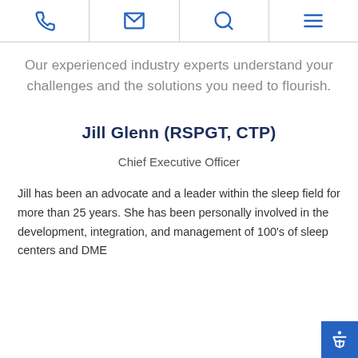[Navigation bar with phone, email, search, and menu icons]
Our experienced industry experts understand your challenges and the solutions you need to flourish.
Jill Glenn (RSPGT, CTP)
Chief Executive Officer
Jill has been an advocate and a leader within the sleep field for more than 25 years. She has been personally involved in the development, integration, and management of 100's of sleep centers and DME